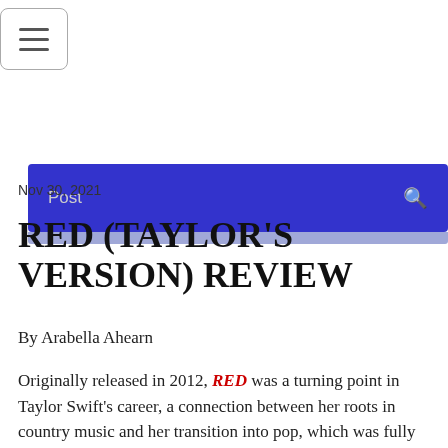≡ (hamburger menu icon)
[Figure (screenshot): Blue navigation bar with 'Post' label on the left and a search icon on the right, followed by a light blue/grey strip below]
Nov 30, 2021
RED (TAYLOR'S VERSION) REVIEW
By Arabella Ahearn
Originally released in 2012, RED was a turning point in Taylor Swift's career, a connection between her roots in country music and her transition into pop, which was fully